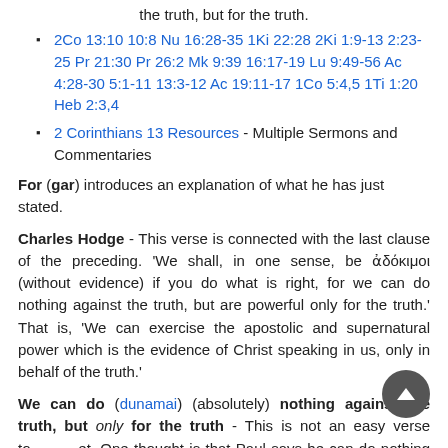the truth, but for the truth.
2Co 13:10 10:8 Nu 16:28-35 1Ki 22:28 2Ki 1:9-13 2:23-25 Pr 21:30 Pr 26:2 Mk 9:39 16:17-19 Lu 9:49-56 Ac 4:28-30 5:1-11 13:3-12 Ac 19:11-17 1Co 5:4,5 1Ti 1:20 Heb 2:3,4
2 Corinthians 13 Resources - Multiple Sermons and Commentaries
For (gar) introduces an explanation of what he has just stated.
Charles Hodge - This verse is connected with the last clause of the preceding. 'We shall, in one sense, be ἀδόκιμοι (without evidence) if you do what is right, for we can do nothing against the truth, but are powerful only for the truth.' That is, 'We can exercise the apostolic and supernatural power which is the evidence of Christ speaking in us, only in behalf of the truth.'
We can do (dunamai) (absolutely) nothing against the truth, but only for the truth - This is not an easy verse to interpret. One thought is that Paul says he can do nothing outside the sphere of truth.